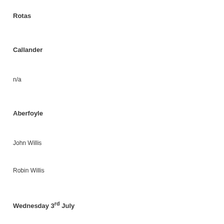Rotas
Callander
n/a
Aberfoyle
John Willis
Robin Willis
Wednesday 3rd July
10.00 Callander
John 20.24-29
11.30 Killearn